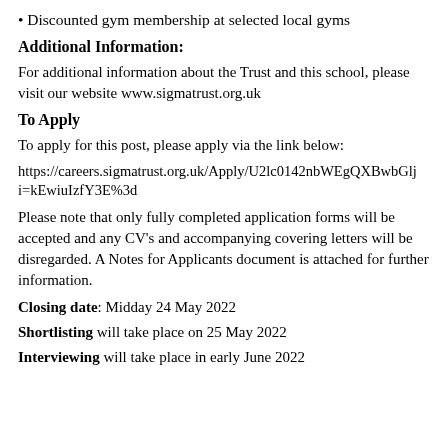Discounted gym membership at selected local gyms
Additional Information:
For additional information about the Trust and this school, please visit our website www.sigmatrust.org.uk
To Apply
To apply for this post, please apply via the link below:
https://careers.sigmatrust.org.uk/Apply/U2lc0142nbWEgQXBwbGlji=kEwiuIzfY3E%3d
Please note that only fully completed application forms will be accepted and any CV's and accompanying covering letters will be disregarded. A Notes for Applicants document is attached for further information.
Closing date: Midday 24 May 2022
Shortlisting will take place on 25 May 2022
Interviewing will take place in early June 2022